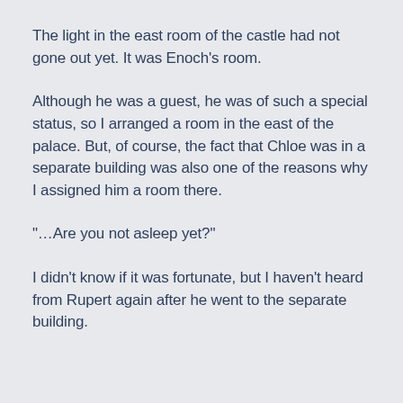The light in the east room of the castle had not gone out yet. It was Enoch's room.
Although he was a guest, he was of such a special status, so I arranged a room in the east of the palace. But, of course, the fact that Chloe was in a separate building was also one of the reasons why I assigned him a room there.
"…Are you not asleep yet?"
I didn't know if it was fortunate, but I haven't heard from Rupert again after he went to the separate building.